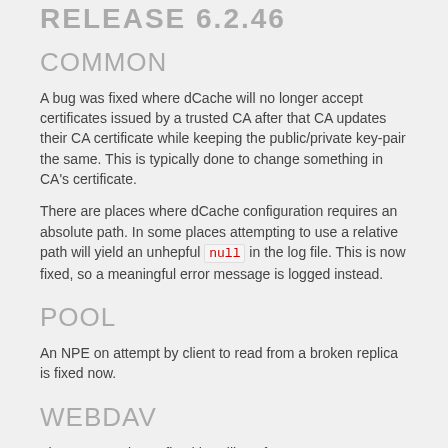RELEASE 6.2.46
COMMON
A bug was fixed where dCache will no longer accept certificates issued by a trusted CA after that CA updates their CA certificate while keeping the public/private key-pair the same. This is typically done to change something in CA's certificate.
There are places where dCache configuration requires an absolute path. In some places attempting to use a relative path will yield an unhepful null in the log file. This is now fixed, so a meaningful error message is logged instead.
POOL
An NPE on attempt by client to read from a broken replica is fixed now.
WEBDAV
The current release fixed handling of